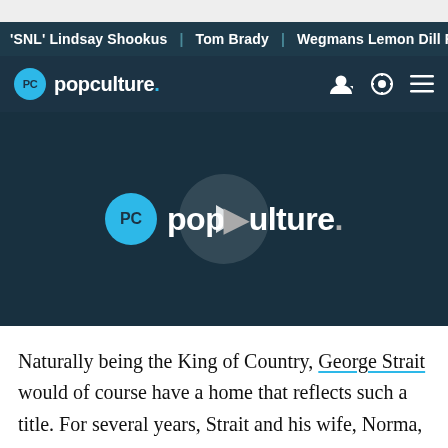'SNL' Lindsay Shookus | Tom Brady | Wegmans Lemon Dill F
popculture.
[Figure (screenshot): Popculture.com video player placeholder showing the popculture logo with play button overlay on dark navy background]
Naturally being the King of Country, George Strait would of course have a home that reflects such a title. For several years, Strait and his wife, Norma, lived in a custom-built Southwestern estate in The Dominion community of San